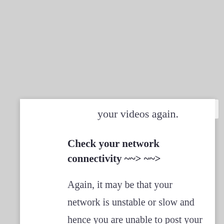your videos again.
Check your network connectivity ~~> ~~>
Again, it may be that your network is unstable or slow and hence you are unable to post your videos. To confirm this, run a test with fast.com to measure the current upload and download bandwidth of your connection.
You may also try restarting your router or